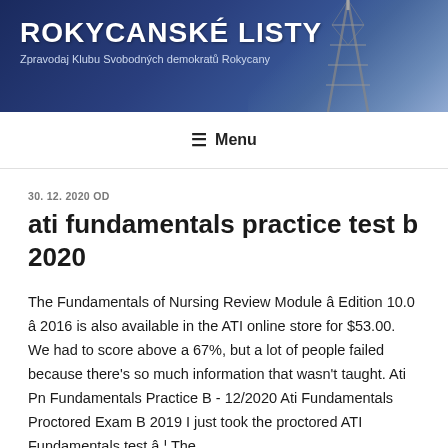ROKYCANSKÉ LISTY
Zpravodaj Klubu Svobodných demokratů Rokycany
≡ Menu
30. 12. 2020 OD
ati fundamentals practice test b 2020
The Fundamentals of Nursing Review Module â Edition 10.0 â 2016 is also available in the ATI online store for $53.00. We had to score above a 67%, but a lot of people failed because there's so much information that wasn't taught. Ati Pn Fundamentals Practice B - 12/2020 Ati Fundamentals Proctored Exam B 2019 I just took the proctored ATI Fundamentals test â The